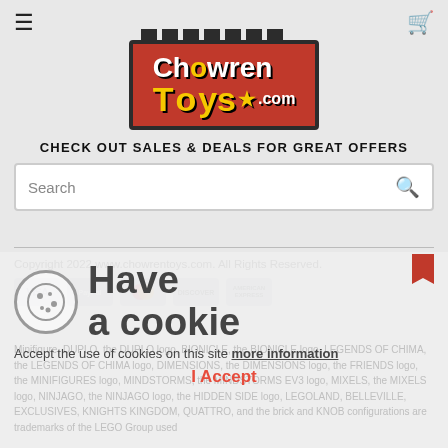[Figure (logo): ChowrenToys.com logo in red brick/castle style with yellow text]
CHECK OUT SALES & DEALS FOR GREAT OFFERS
Search
Copyright 2022 www.chowrentoys.com. All Rights Reserved.
[Figure (other): Payment icons: VISA, PayPal, Mastercard, Discover, American Express]
Have a cookie
Accept the use of cookies on this site more information
I Accept